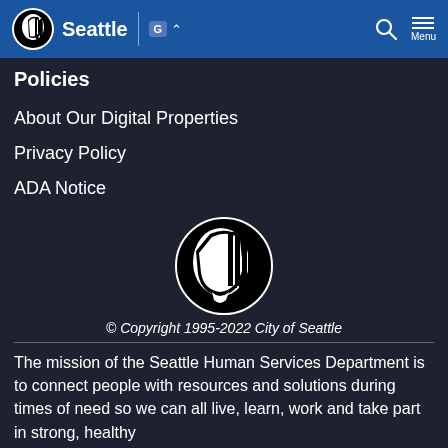Seattle | [translate] | Search | Menu
Policies
About Our Digital Properties
Privacy Policy
ADA Notice
[Figure (logo): City of Seattle circular logo — profile silhouette face with vertical stripes, black and white]
© Copyright 1995-2022 City of Seattle
The mission of the Seattle Human Services Department is to connect people with resources and solutions during times of need so we can all live, learn, work and take part in strong, healthy